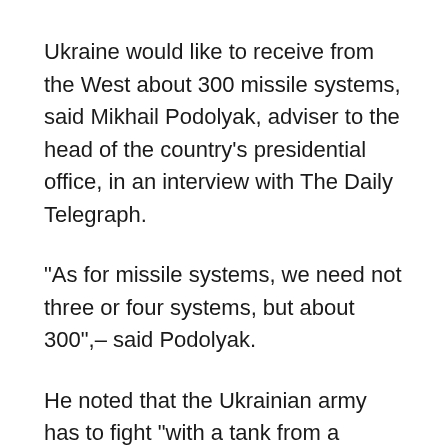Ukraine would like to receive from the West about 300 missile systems, said Mikhail Podolyak, adviser to the head of the country's presidential office, in an interview with The Daily Telegraph.
“As for missile systems, we need not three or four systems, but about 300”,– said Podolyak.
He noted that the Ukrainian army has to fight “with a tank from a pistol” due to the fact that European countries evade the supply of weapons.
At the end of May, Aleksey Arestovich, an adviser to the head of the Ukrainian leader’s office, threatened to throw a “model-demonstrative tantrum” in response to